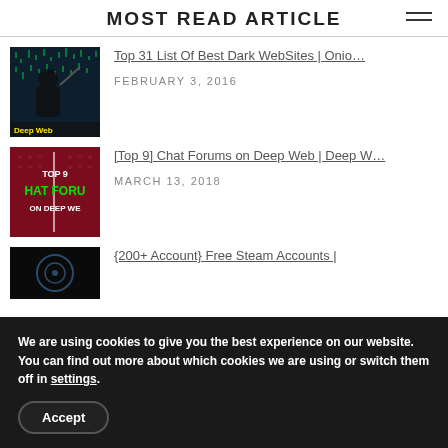MOST READ ARTICLE
Top 31 List Of Best Dark WebSites | Onio… — FEBRUARY 3, 2016
[Top 9] Chat Forums on Deep Web | Deep W… — MARCH 13, 2018
{200+ Account} Free Steam Accounts |
We are using cookies to give you the best experience on our website.
You can find out more about which cookies we are using or switch them off in settings.
Accept